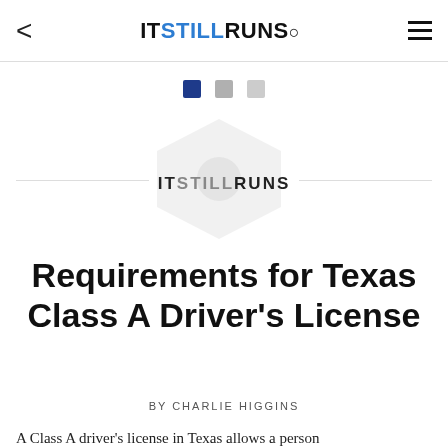IT STILL RUNS
[Figure (logo): ITSTILLRUNS logo with hexagon watermark and horizontal divider lines]
Requirements for Texas Class A Driver's License
BY CHARLIE HIGGINS
A Class A driver's license in Texas allows a person